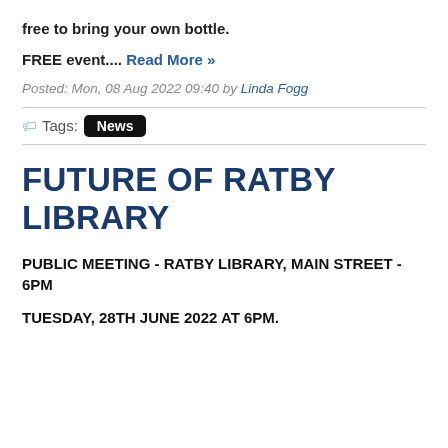free to bring your own bottle.
FREE event.... Read More »
Posted: Mon, 08 Aug 2022 09:40 by Linda Fogg
Tags: News
FUTURE OF RATBY LIBRARY
PUBLIC MEETING - RATBY LIBRARY, MAIN STREET - 6PM
TUESDAY, 28TH JUNE 2022 AT 6PM.